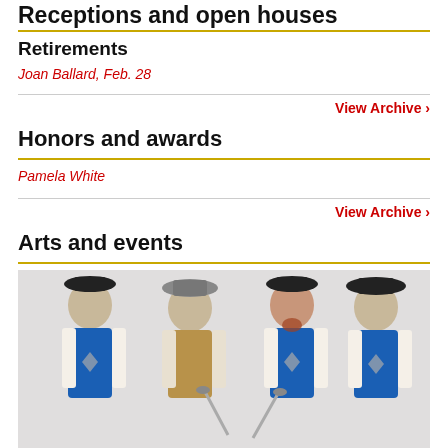Receptions and open houses
Retirements
Joan Ballard, Feb. 28
View Archive ›
Honors and awards
Pamela White
View Archive ›
Arts and events
[Figure (photo): Four young men dressed as musketeers in blue capes with white trim and black hats, holding swords, posed against a white background.]